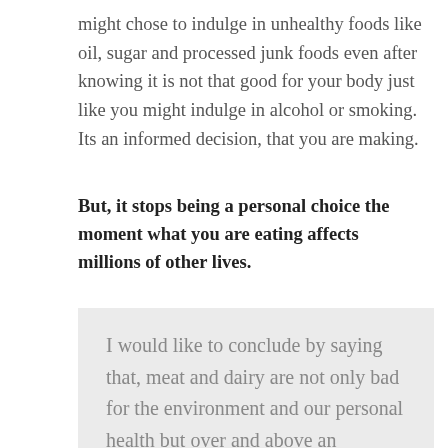might chose to indulge in unhealthy foods like oil, sugar and processed junk foods even after knowing it is not that good for your body just like you might indulge in alcohol or smoking. Its an informed decision, that you are making.
But, it stops being a personal choice the moment what you are eating affects millions of other lives.
I would like to conclude by saying that, meat and dairy are not only bad for the environment and our personal health but over and above an extremely unethical and cruel food choice made to selfishly satisfy human taste buds by exploiting, torturing and killing millions